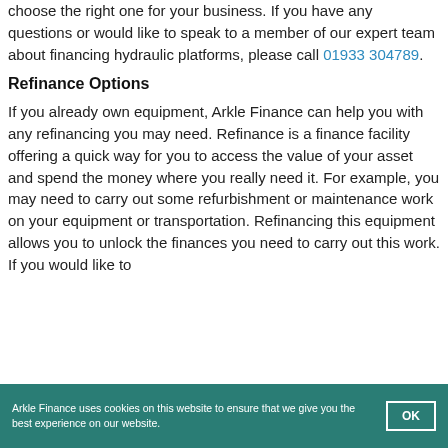choose the right one for your business. If you have any questions or would like to speak to a member of our expert team about financing hydraulic platforms, please call 01933 304789.
Refinance Options
If you already own equipment, Arkle Finance can help you with any refinancing you may need. Refinance is a finance facility offering a quick way for you to access the value of your asset and spend the money where you really need it. For example, you may need to carry out some refurbishment or maintenance work on your equipment or transportation. Refinancing this equipment allows you to unlock the finances you need to carry out this work. If you would like to
Arkle Finance uses cookies on this website to ensure that we give you the best experience on our website.